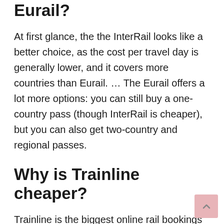Eurail?
At first glance, the the InterRail looks like a better choice, as the cost per travel day is generally lower, and it covers more countries than Eurail. … The Eurail offers a lot more options: you can still buy a one-country pass (though InterRail is cheaper), but you can also get two-country and regional passes.
Why is Trainline cheaper?
Trainline is the biggest online rail bookings company in the UK, with millions of visits to its website every month. … However, while the website is cheaper than rocking up just